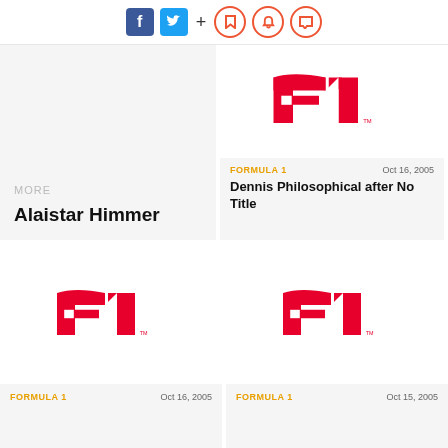[Figure (other): Social media sharing icons: Facebook (blue), Twitter (light blue), plus sign, and three red circle icons (bookmark, bell, comment)]
MORE
Alaistar Himmer
[Figure (logo): Formula 1 logo in red with TM mark]
FORMULA 1
Oct 16, 2005
Dennis Philosophical after No Title
[Figure (logo): Formula 1 logo in red with TM mark]
[Figure (logo): Formula 1 logo in red with TM mark]
FORMULA 1
Oct 16, 2005
FORMULA 1
Oct 15, 2005